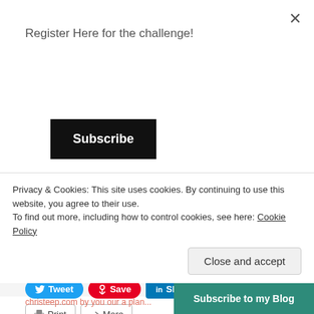Register Here for the challenge!
Subscribe
depends on how I look at things. Counting my blessings can add… Read More
Share this:
Tweet Save Share Email Print More
Privacy & Cookies: This site uses cookies. By continuing to use this website, you agree to their use.
To find out more, including how to control cookies, see here: Cookie Policy
Close and accept
Subscribe to my Blog